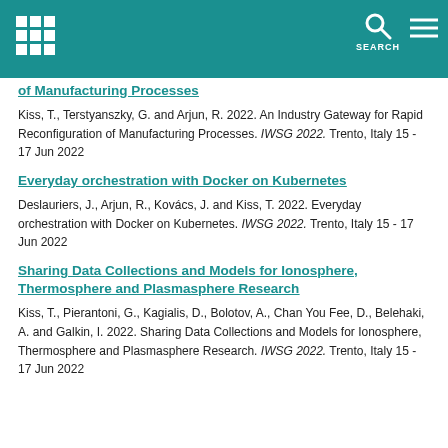SEARCH
of Manufacturing Processes
Kiss, T., Terstyanszky, G. and Arjun, R. 2022. An Industry Gateway for Rapid Reconfiguration of Manufacturing Processes. IWSG 2022. Trento, Italy 15 - 17 Jun 2022
Everyday orchestration with Docker on Kubernetes
Deslauriers, J., Arjun, R., Kovács, J. and Kiss, T. 2022. Everyday orchestration with Docker on Kubernetes. IWSG 2022. Trento, Italy 15 - 17 Jun 2022
Sharing Data Collections and Models for Ionosphere, Thermosphere and Plasmasphere Research
Kiss, T., Pierantoni, G., Kagialis, D., Bolotov, A., Chan You Fee, D., Belehaki, A. and Galkin, I. 2022. Sharing Data Collections and Models for Ionosphere, Thermosphere and Plasmasphere Research. IWSG 2022. Trento, Italy 15 - 17 Jun 2022